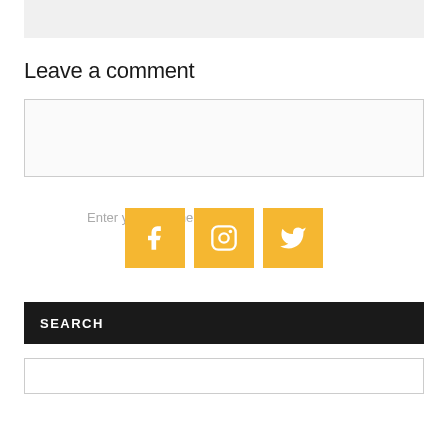[Figure (other): Gray top bar area]
Leave a comment
Enter your comment here...
[Figure (infographic): Three orange social media icon buttons: Facebook, Instagram, Twitter]
SEARCH